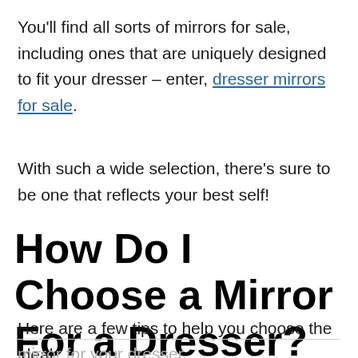You'll find all sorts of mirrors for sale, including ones that are uniquely designed to fit your dresser – enter, dresser mirrors for sale.
With such a wide selection, there's sure to be one that reflects your best self!
How Do I Choose a Mirror For a Dresser?
Here are a few tips to help you choose the ideal mirror for your dresser.